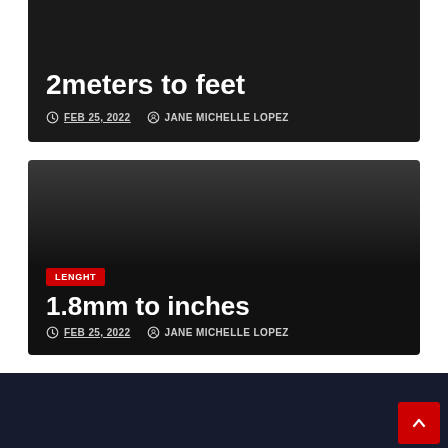2meters to feet
FEB 25, 2022   JANE MICHELLE LOPEZ
LENGHT
1.8mm to inches
FEB 25, 2022   JANE MICHELLE LOPEZ